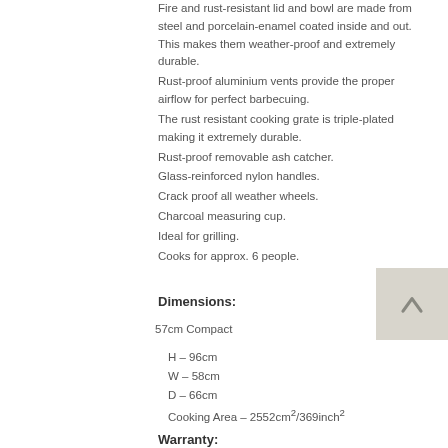Fire and rust-resistant lid and bowl are made from steel and porcelain-enamel coated inside and out. This makes them weather-proof and extremely durable.
Rust-proof aluminium vents provide the proper airflow for perfect barbecuing.
The rust resistant cooking grate is triple-plated making it extremely durable.
Rust-proof removable ash catcher.
Glass-reinforced nylon handles.
Crack proof all weather wheels.
Charcoal measuring cup.
Ideal for grilling.
Cooks for approx. 6 people.
Dimensions:
57cm Compact
H – 96cm
W – 58cm
D – 66cm
Cooking Area – 2552cm²/369inch²
Warranty: